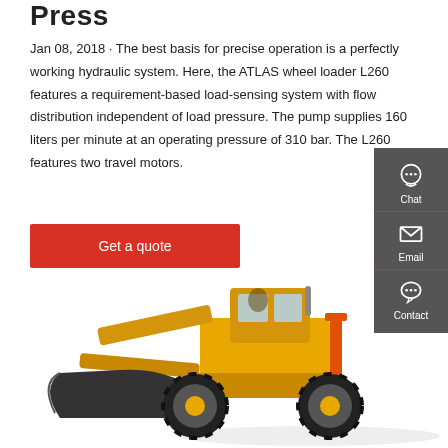Press
Jan 08, 2018 · The best basis for precise operation is a perfectly working hydraulic system. Here, the ATLAS wheel loader L260 features a requirement-based load-sensing system with flow distribution independent of load pressure. The pump supplies 160 liters per minute at an operating pressure of 310 bar. The L260 features two travel motors.
[Figure (other): Red 'Get a quote' button]
[Figure (other): Sidebar with Chat, Email, and Contact icons on dark grey background]
[Figure (photo): Yellow ATLAS L260 wheel loader with large bucket attachment, photographed from the front-left side]